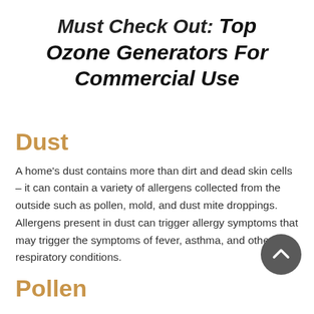Must Check Out: Top Ozone Generators For Commercial Use
Dust
A home's dust contains more than dirt and dead skin cells – it can contain a variety of allergens collected from the outside such as pollen, mold, and dust mite droppings. Allergens present in dust can trigger allergy symptoms that may trigger the symptoms of fever, asthma, and other respiratory conditions.
Pollen